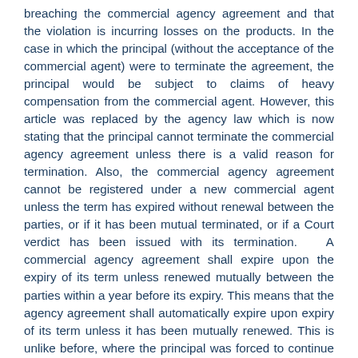breaching the commercial agency agreement and that the violation is incurring losses on the products. In the case in which the principal (without the acceptance of the commercial agent) were to terminate the agreement, the principal would be subject to claims of heavy compensation from the commercial agent. However, this article was replaced by the agency law which is now stating that the principal cannot terminate the commercial agency agreement unless there is a valid reason for termination. Also, the commercial agency agreement cannot be registered under a new commercial agent unless the term has expired without renewal between the parties, or if it has been mutual terminated, or if a Court verdict has been issued with its termination. A commercial agency agreement shall expire upon the expiry of its term unless renewed mutually between the parties within a year before its expiry. This means that the agency agreement shall automatically expire upon expiry of its term unless it has been mutually renewed. This is unlike before, where the principal was forced to continue with the commercial agency agreement despite its perpetually terminated.